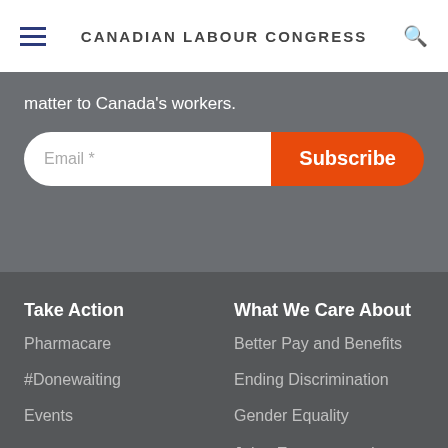CANADIAN LABOUR CONGRESS
matter to Canada's workers.
Email *
Subscribe
Take Action
Pharmacare
#Donewaiting
Events
What We Care About
Better Pay and Benefits
Ending Discrimination
Gender Equality
Jobs, Economy and Environment
Retirement Security
Social Justice
Trade and